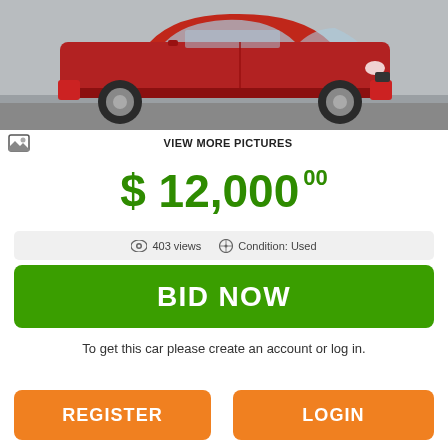[Figure (photo): Photo of a red Mini Cooper car, partially visible, with a grey background. Below the car image is a white bar with an image icon and 'VIEW MORE PICTURES' text.]
$ 12,000 00
403 views   Condition: Used
BID NOW
To get this car please create an account or log in.
REGISTER
LOGIN